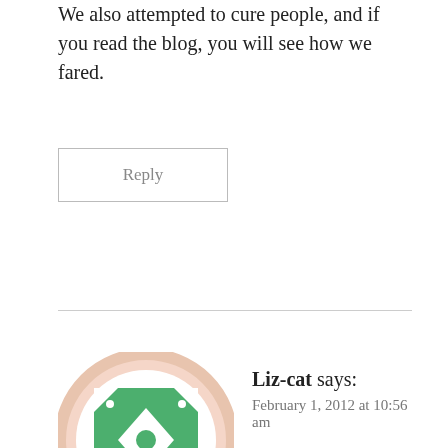We also attempted to cure people, and if you read the blog, you will see how we fared.
Reply
[Figure (illustration): Avatar icon: a circular badge with a peach/salmon border and a green decorative tile pattern in the center, featuring diamond shapes and dots in a symmetrical quilt-like design.]
Liz-cat says: February 1, 2012 at 10:56 am
I'm so glad you are sharing your experience here.
And yikes – I will correct my statement about him refusing money. I thought he had never charged for a healing, but when I went back and looked at his writings I think it's just that he went by